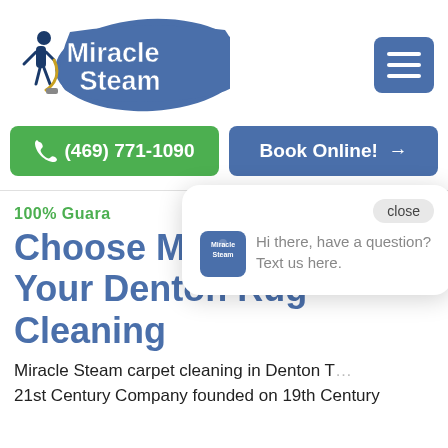[Figure (logo): Miracle Steam logo with person steam cleaning and blue paint-stroke background with white bold text 'Miracle Steam']
[Figure (other): Blue rounded-rectangle hamburger menu button with three white horizontal lines]
(469) 771-1090
Book Online! →
100% Guara...
Choose M... Your Den... Rug Cleaning
[Figure (screenshot): Chat popup overlay with close button and message 'Hi there, have a question? Text us here.' with small Miracle Steam logo]
Miracle Steam carpet cleaning in Denton T... 21st Century Company founded on 19th Century